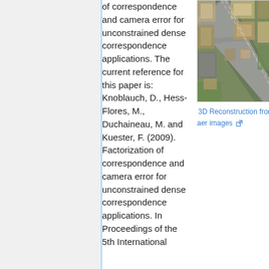of correspondence and camera error for unconstrained dense correspondence applications. The current reference for this paper is: Knoblauch, D., Hess-Flores, M., Duchaineau, M. and Kuester, F. (2009). Factorization of correspondence and camera error for unconstrained dense correspondence applications. In Proceedings of the 5th International
[Figure (photo): Aerial photograph showing an urban area with roads, buildings, parking lots, and a highway or major road running diagonally.]
3D Reconstruction from aerial images